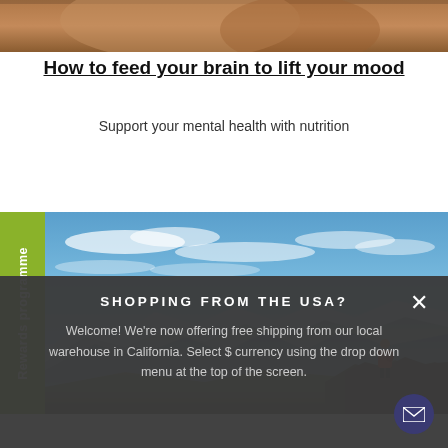[Figure (photo): Close-up photo of a person, warm tones, partial view — top strip]
How to feed your brain to lift your mood
Support your mental health with nutrition
[Figure (photo): Mountain landscape with hiker in red backpack standing on rocky ridge, blue sky with clouds and layered mountain ranges in background]
Rewards programme
SHOPPING FROM THE USA?
Welcome! We're now offering free shipping from our local warehouse in California. Select $ currency using the drop down menu at the top of the screen.